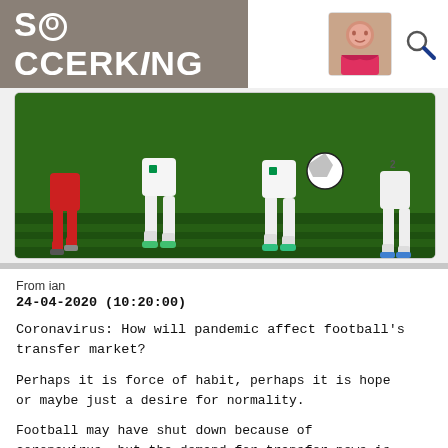SOCCERKING
[Figure (photo): Soccer players in action — players in red and white Italian kits competing for the ball on a green grass pitch]
From ian
24-04-2020 (10:20:00)
Coronavirus: How will pandemic affect football's transfer market?
Perhaps it is force of habit, perhaps it is hope or maybe just a desire for normality.
Football may have shut down because of coronavirus, but the demand for transfer news is still constant, if BBC Sport website fi…